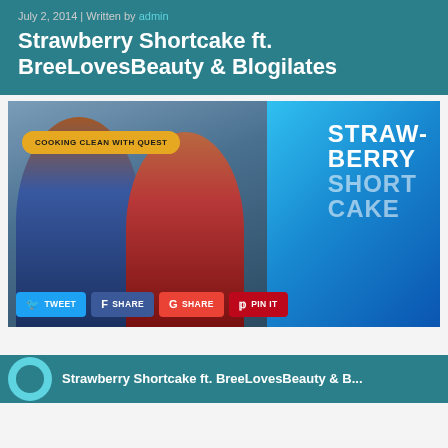July 2, 2014 | Written by admin
Strawberry Shortcake ft. BreeLovesBeauty & Blogilates
[Figure (photo): Promotional image for 'Cooking Clean with Quest' featuring two women holding strawberry shortcakes, with large text reading 'STRAWBERRY SHORTCAKE' and social sharing buttons (Tweet, Share, Share, Pin It) at the bottom]
Strawberry Shortcake ft. BreeLovesBeauty & B...